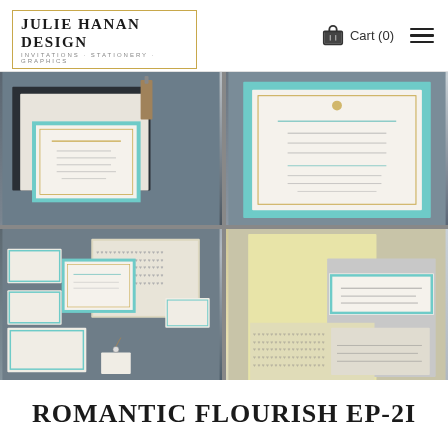JULIE HANAN DESIGN — INVITATIONS · STATIONERY · GRAPHICS | Cart (0)
[Figure (photo): Four photos of wedding invitation suite: teal and cream layered invitation cards on dark background (top-left), close-up of teal-bordered invitation card (top-right), full suite with envelope lined with heart pattern and various cards (bottom-left), yellow and grey save-the-date and cards with heart-patterned liner (bottom-right)]
ROMANTIC FLOURISH EP-2I